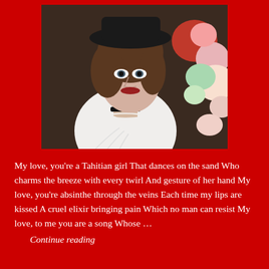[Figure (photo): A woman wearing a black hat and white Victorian-style ruffled blouse with a black choker necklace, holding or standing near colorful flowers, photographed in a portrait style.]
My love, you're a Tahitian girl That dances on the sand Who charms the breeze with every twirl And gesture of her hand My love, you're absinthe through the veins Each time my lips are kissed A cruel elixir bringing pain Which no man can resist My love, to me you are a song Whose …
Continue reading